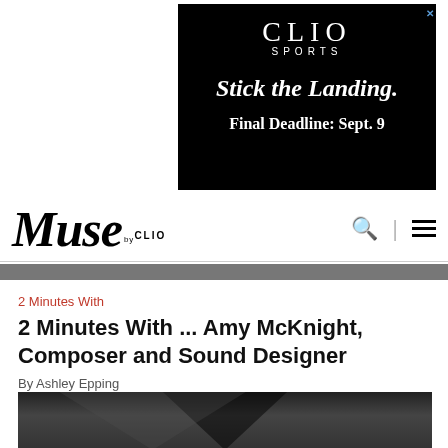[Figure (screenshot): CLIO SPORTS advertisement banner on black background with text 'Stick the Landing. Final Deadline: Sept. 9']
[Figure (logo): Muse by CLIO website navigation bar with logo, search icon, and hamburger menu]
2 Minutes With
2 Minutes With ... Amy McKnight, Composer and Sound Designer
By Ashley Epping
[Figure (photo): Partial photo of Amy McKnight, partially visible at bottom of page with dark background and geometric shapes]